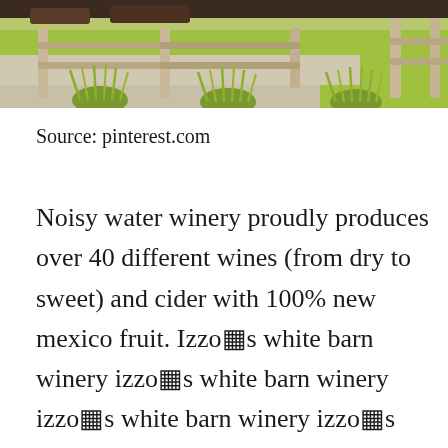[Figure (photo): Outdoor scene with wooden split-rail fence, ornamental grass tufts along a concrete path, and green lawn in the background.]
Source: pinterest.com
Noisy water winery proudly produces over 40 different wines (from dry to sweet) and cider with 100% new mexico fruit. Izzo�s white barn winery izzo�s white barn winery izzo�s white barn winery izzo�s white barn winery The big barn is quite simply one of the most beautiful wedding